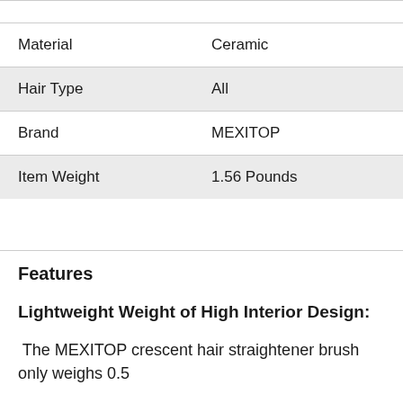| Attribute | Value |
| --- | --- |
| Material | Ceramic |
| Hair Type | All |
| Brand | MEXITOP |
| Item Weight | 1.56 Pounds |
Features
Lightweight Weight of High Interior Design:
The MEXITOP crescent hair straightener brush only weighs 0.5